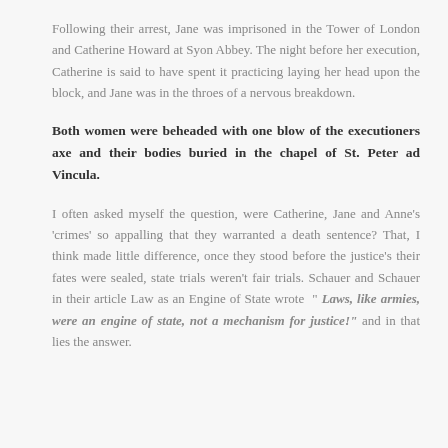Following their arrest, Jane was imprisoned in the Tower of London and Catherine Howard at Syon Abbey. The night before her execution, Catherine is said to have spent it practicing laying her head upon the block, and Jane was in the throes of a nervous breakdown.
Both women were beheaded with one blow of the executioners axe and their bodies buried in the chapel of St. Peter ad Vincula.
I often asked myself the question, were Catherine, Jane and Anne's 'crimes' so appalling that they warranted a death sentence? That, I think made little difference, once they stood before the justice's their fates were sealed, state trials weren't fair trials. Schauer and Schauer in their article Law as an Engine of State wrote " Laws, like armies, were an engine of state, not a mechanism for justice!" and in that lies the answer.